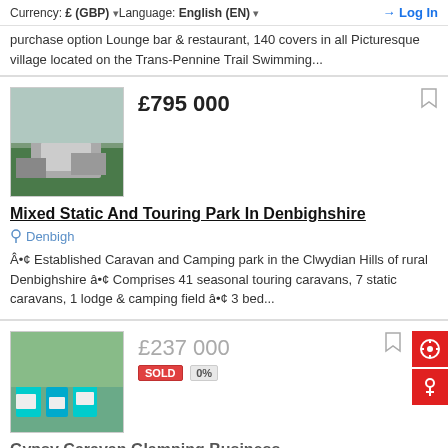Currency: £ (GBP)  Language: English (EN)   Log In
purchase option Lounge bar & restaurant, 140 covers in all Picturesque village located on the Trans-Pennine Trail Swimming...
£795 000
Mixed Static And Touring Park In Denbighshire
Denbigh
• Established Caravan and Camping park in the Clwydian Hills of rural Denbighshire • Comprises 41 seasonal touring caravans, 7 static caravans, 1 lodge & camping field • 3 bed...
£237 000
Gypsy Caravan Glamping Business
Bristol